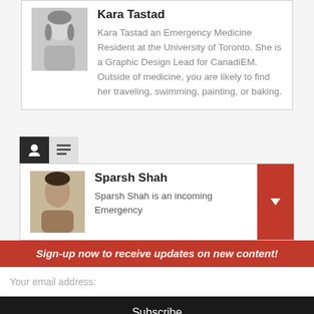Kara Tastad
Kara Tastad an Emergency Medicine Resident at the University of Toronto. She is a Graphic Design Lead for CanadiEM. Outside of medicine, you are likely to find her traveling, swimming, painting, or baking.
[Figure (photo): Profile photo of Kara Tastad]
Sparsh Shah
Sparsh Shah is an incoming Emergency
[Figure (photo): Profile photo of Sparsh Shah]
Sign-up now to receive updates on new content!
Your email address:
Subscribe